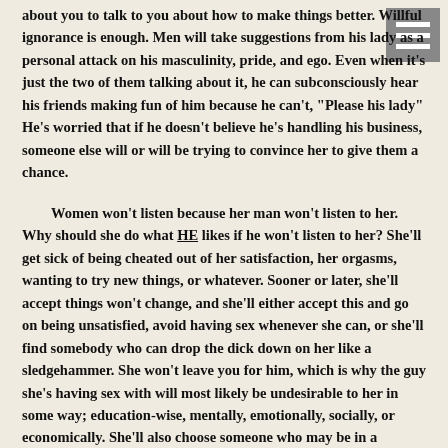about you to talk to you about how to make things better. Willful ignorance is enough. Men will take suggestions from his lady as a personal attack on his masculinity, pride, and ego. Even when it's just the two of them talking about it, he can subconsciously hear his friends making fun of him because he can't, "Please his lady" He's worried that if he doesn't believe he's handling his business, someone else will or will be trying to convince her to give them a chance.
Women won't listen because her man won't listen to her. Why should she do what HE likes if he won't listen to her? She'll get sick of being cheated out of her satisfaction, her orgasms, wanting to try new things, or whatever. Sooner or later, she'll accept things won't change, and she'll either accept this and go on being unsatisfied, avoid having sex whenever she can, or she'll find somebody who can drop the dick down on her like a sledgehammer. She won't leave you for him, which is why the guy she's having sex with will most likely be undesirable to her in some way; education-wise, mentally, emotionally, socially, or economically. She'll also choose someone who may be in a